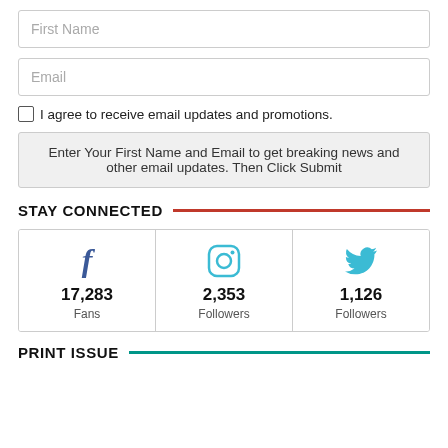First Name
Email
I agree to receive email updates and promotions.
Enter Your First Name and Email to get breaking news and other email updates. Then Click Submit
STAY CONNECTED
[Figure (infographic): Three social media boxes showing Facebook (17,283 Fans), Instagram (2,353 Followers), Twitter (1,126 Followers)]
PRINT ISSUE